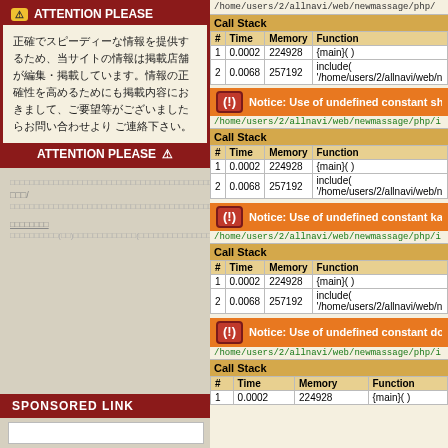ATTENTION PLEASE
正確でスピーディーな情報を提供するため、当サイトの情報は掲載店舗が編集・掲載しています。情報の正確性を高めるためにも掲載内容におきまして、ご要望等がございましたらお問い合わせより ご連絡下さい。
ATTENTION PLEASE
Japanese text content (obfuscated)
SPONSORED LINK
/home/users/2/allnavi/web/newmassage/php/
| # | Time | Memory | Function |
| --- | --- | --- | --- |
| 1 | 0.0002 | 224928 | {main}( ) |
| 2 | 0.0068 | 257192 | include( '/home/users/2/allnavi/web/n |
Notice: Use of undefined constant sh
/home/users/2/allnavi/web/newmassage/php/i
| # | Time | Memory | Function |
| --- | --- | --- | --- |
| 1 | 0.0002 | 224928 | {main}( ) |
| 2 | 0.0068 | 257192 | include( '/home/users/2/allnavi/web/n |
Notice: Use of undefined constant ka
/home/users/2/allnavi/web/newmassage/php/i
| # | Time | Memory | Function |
| --- | --- | --- | --- |
| 1 | 0.0002 | 224928 | {main}( ) |
| 2 | 0.0068 | 257192 | include( '/home/users/2/allnavi/web/n |
Notice: Use of undefined constant do
/home/users/2/allnavi/web/newmassage/php/i
| # | Time | Memory | Function |
| --- | --- | --- | --- |
| 1 | 0.0002 | 224928 | {main}( ) |